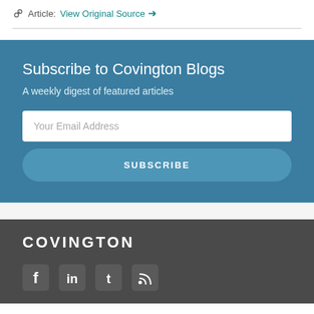Article: View Original Source →
Subscribe to Covington Blogs
A weekly digest of featured articles
Your Email Address
SUBSCRIBE
COVINGTON